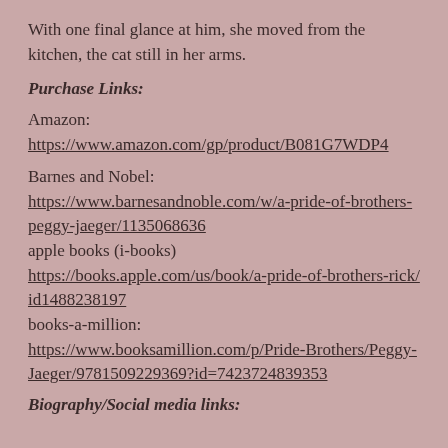With one final glance at him, she moved from the kitchen, the cat still in her arms.
Purchase Links:
Amazon:
https://www.amazon.com/gp/product/B081G7WDP4
Barnes and Nobel:
https://www.barnesandnoble.com/w/a-pride-of-brothers-peggy-jaeger/1135068636
apple books (i-books)
https://books.apple.com/us/book/a-pride-of-brothers-rick/id1488238197
books-a-million:
https://www.booksamillion.com/p/Pride-Brothers/Peggy-Jaeger/9781509229369?id=7423724839353
Biography/Social media links: